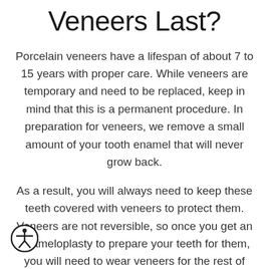Veneers Last?
Porcelain veneers have a lifespan of about 7 to 15 years with proper care. While veneers are temporary and need to be replaced, keep in mind that this is a permanent procedure. In preparation for veneers, we remove a small amount of your tooth enamel that will never grow back.
As a result, you will always need to keep these teeth covered with veneers to protect them. Veneers are not reversible, so once you get an enameloplasty to prepare your teeth for them, you will need to wear veneers for the rest of your life.
[Figure (illustration): Accessibility icon: a circular black-bordered icon with a white background showing a stick figure with arms outstretched (universal accessibility symbol)]